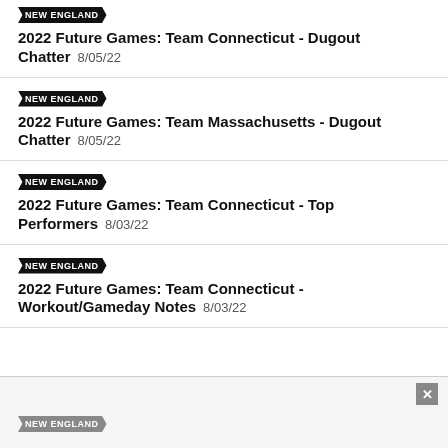NEW ENGLAND
2022 Future Games: Team Connecticut - Dugout Chatter  8/05/22
NEW ENGLAND
2022 Future Games: Team Massachusetts - Dugout Chatter  8/05/22
NEW ENGLAND
2022 Future Games: Team Connecticut - Top Performers  8/03/22
NEW ENGLAND
2022 Future Games: Team Connecticut - Workout/Gameday Notes  8/03/22
NEW ENGLAND